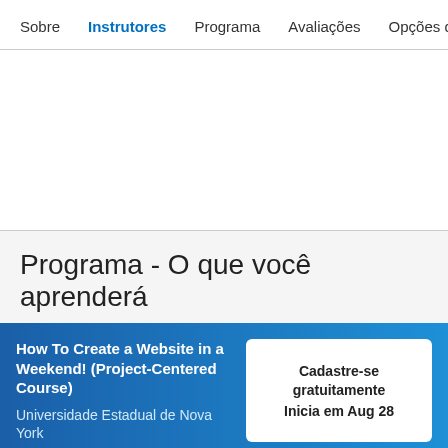Sobre  Instrutores  Programa  Avaliações  Opções de
Programa - O que você aprenderá
How To Create a Website in a Weekend! (Project-Centered Course)
Universidade Estadual de Nova York
Cadastre-se gratuitamente
Inicia em Aug 28